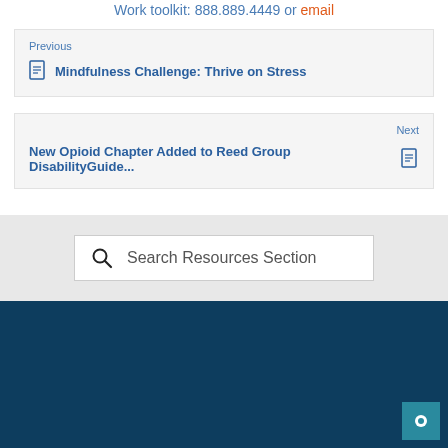Work toolkit: 888.889.4449 or email
Previous
Mindfulness Challenge: Thrive on Stress
Next
New Opioid Chapter Added to Reed Group DisabilityGuide...
Search Resources Section